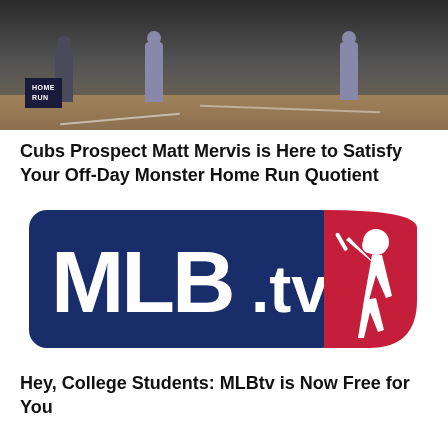[Figure (photo): Baseball game photo showing players on field with a HOME RUN sign visible in lower left corner]
Cubs Prospect Matt Mervis is Here to Satisfy Your Off-Day Monster Home Run Quotient
[Figure (logo): MLB.tv logo — navy blue rounded rectangle with white MLB.tv text and MLB silhouette batter logo in red/white on right side]
Hey, College Students: MLBtv is Now Free for You